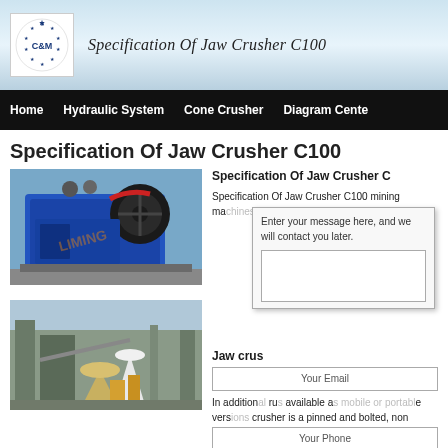Specification Of Jaw Crusher C100
Home   Hydraulic System   Cone Crusher   Diagram Center
Specification Of Jaw Crusher C100
[Figure (photo): Blue jaw crusher machine with large flywheel, industrial mining equipment, LIMING brand watermark]
Specification Of Jaw Crusher C
Specification Of Jaw Crusher C100 mining machines including different processing ng
Enter your message here, and we will contact you later.
Jaw crusher
In addition rus available as mobile or portable versions crusher is a pinned and bolted, non
[Figure (photo): Industrial processing plant with cone crusher and conveyor structures, outdoor setting]